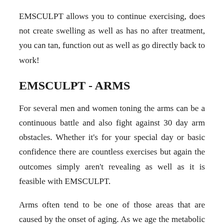EMSCULPT allows you to continue exercising, does not create swelling as well as has no after treatment, you can tan, function out as well as go directly back to work!
EMSCULPT - ARMS
For several men and women toning the arms can be a continuous battle and also fight against 30 day arm obstacles. Whether it's for your special day or basic confidence there are countless exercises but again the outcomes simply aren't revealing as well as it is feasible with EMSCULPT.
Arms often tend to be one of those areas that are caused by the onset of aging. As we age the metabolic rate decreases and if you are not adhering to an active way of living as well as healthy diet regimen, the opportunities are the excess fat is being saved in your